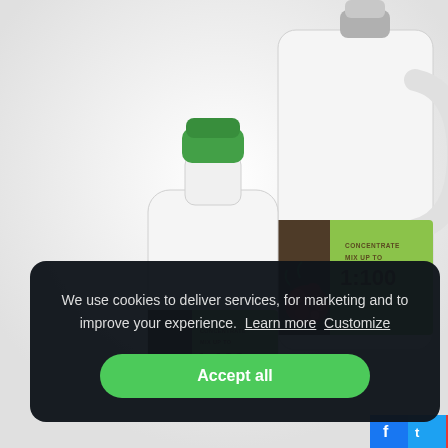[Figure (photo): Two white plastic bottles/jugs with green caps and green-brown labels reading 'CONCENTRATE MIX UP TO 1:100' on a white background. Left bottle is smaller, right jug is larger with a handle and shows red berries/flowers on the label.]
We use cookies to deliver services, for marketing and to improve your experience. Learn more  Customize
Accept all